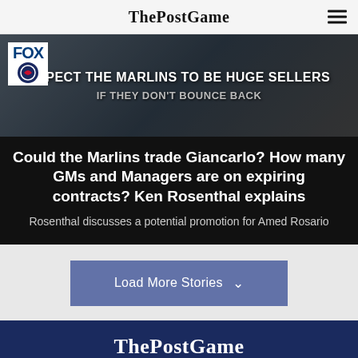ThePostGame
[Figure (screenshot): FOX Sports / MLB article thumbnail with overlay text: 'EXPECT THE MARLINS TO BE HUGE SELLERS IF THEY DON'T BOUNCE BACK']
Could the Marlins trade Giancarlo? How many GMs and Managers are on expiring contracts? Ken Rosenthal explains
Rosenthal discusses a potential promotion for Amed Rosario
Load More Stories
ThePostGame
[Figure (infographic): Social media icons: Facebook, Twitter, YouTube, Instagram, LinkedIn, Email]